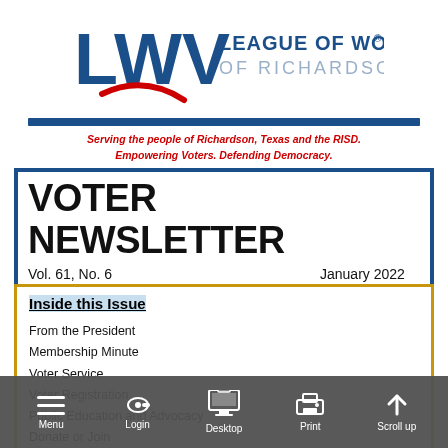[Figure (logo): League of Women Voters of Richardson logo with LWV initials and red swoosh]
Serving the people of Richardson, Texas and the RISD.
Empowering Voters.  Defending Democracy.
VOTER NEWSLETTER
Vol. 61, No. 6    January 2022
Editor: Diana Lace
Inside this Issue
From the President
Membership Minute
Voter Service
Voter Registration
Public Education and Advocacy
Donate or Join
[Figure (screenshot): Website navigation toolbar with Menu, Login, Desktop, Print, Scroll up icons]